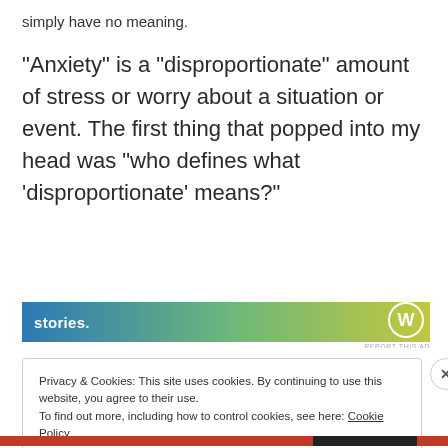simply have no meaning.
“Anxiety” is a “disproportionate” amount of stress or worry about a situation or event. The first thing that popped into my head was “who defines what ‘disproportionate’ means?”
[Figure (other): Advertisement banner with gradient background from blue to green to yellow, showing the word 'stories.' in white text and a circular logo on the right. Below is a 'REPORT THIS AD' link.]
Privacy & Cookies: This site uses cookies. By continuing to use this website, you agree to their use.
To find out more, including how to control cookies, see here: Cookie Policy
Close and accept